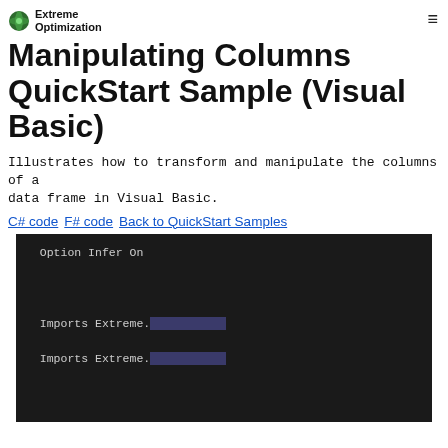Extreme Optimization
Manipulating Columns QuickStart Sample (Visual Basic)
Illustrates how to transform and manipulate the columns of a data frame in Visual Basic.
C# code  F# code  Back to QuickStart Samples
[Figure (screenshot): Code block showing Visual Basic code: Option Infer On, Imports Extreme., Imports Extreme., Namespace Extreme.Numerics.QuickStart.VB, comment Illustrates how to transform And manipulate the columns, comment of a data frame., Module ManipulatingColumns]